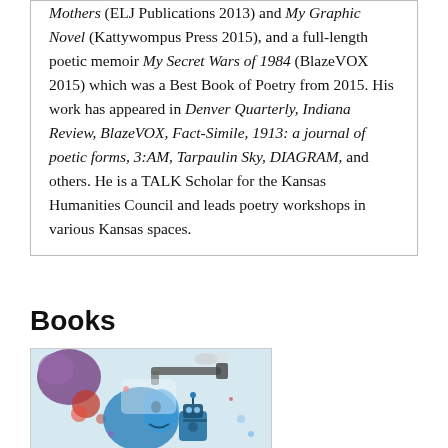Mothers (ELJ Publications 2013) and My Graphic Novel (Kattywompus Press 2015), and a full-length poetic memoir My Secret Wars of 1984 (BlazeVOX 2015) which was a Best Book of Poetry from 2015. His work has appeared in Denver Quarterly, Indiana Review, BlazeVOX, Fact-Simile, 1913: a journal of poetic forms, 3:AM, Tarpaulin Sky, DIAGRAM, and others. He is a TALK Scholar for the Kansas Humanities Council and leads poetry workshops in various Kansas spaces.
Books
[Figure (illustration): Colorful illustrated book cover with abstract figures including a face, a robot-like character, and various shapes in blue, red, and purple tones.]